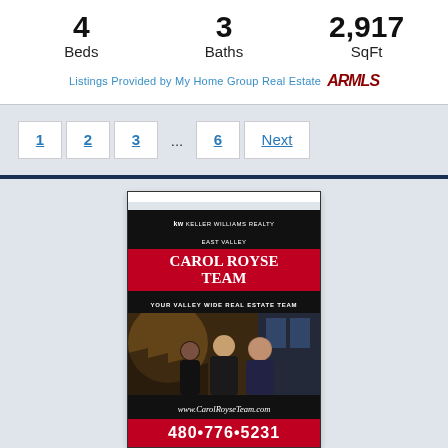4 Beds
3 Baths
2,917 SqFt
Listings Provided by My Home Group Real Estate ARMLS
1
2
3
...
6
Next
[Figure (photo): Carol Royse Team advertisement showing the team logo, three agents photo, website www.CarolRoyseTeam.com and phone number 480-776-5231]
Carol Royse Team
Carol Royse